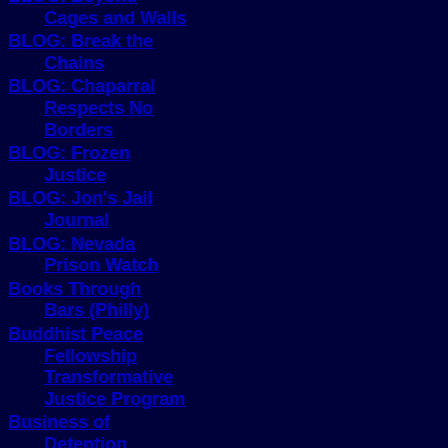BLOG: Beyond Cages and Walls
BLOG: Break the Chains
BLOG: Chaparral Respects No Borders
BLOG: Frozen Justice
BLOG: Jon's Jail Journal
BLOG: Nevada Prison Watch
Books Through Bars (Philly)
Buddhist Peace Fellowship Transformative Justice Program
Business of Detention